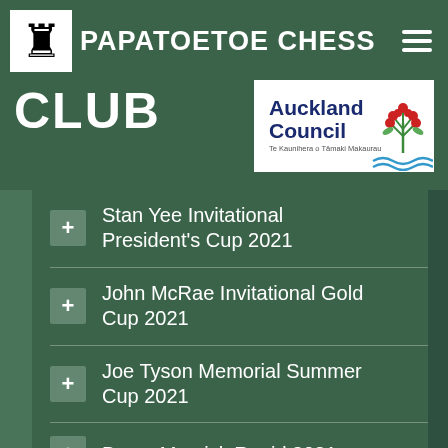PAPATOETOE CHESS CLUB
CLUB
[Figure (logo): Auckland Council logo — Te Kaunihera o Tāmaki Makaurau]
Stan Yee Invitational President's Cup 2021
John McRae Invitational Gold Cup 2021
Joe Tyson Memorial Summer Cup 2021
Bruce Marsick Rapid 2021